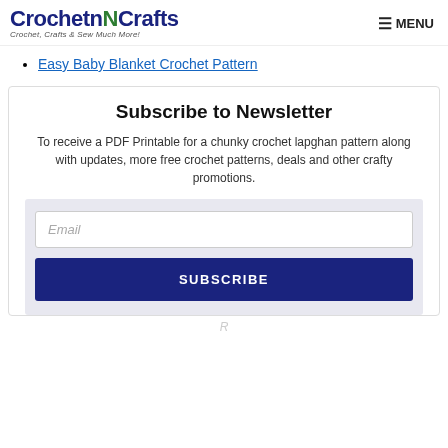CrochetnCrafts — Crochet, Crafts & Sew Much More! | MENU
Easy Baby Blanket Crochet Pattern
Subscribe to Newsletter
To receive a PDF Printable for a chunky crochet lapghan pattern along with updates, more free crochet patterns, deals and other crafty promotions.
Email [input field]
SUBSCRIBE [button]